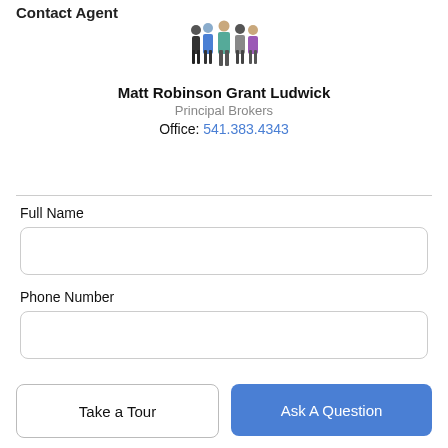Contact Agent
[Figure (illustration): Group photo illustration of real estate team (5 people standing together)]
Matt Robinson Grant Ludwick
Principal Brokers
Office: 541.383.4343
Full Name
Phone Number
Email Address